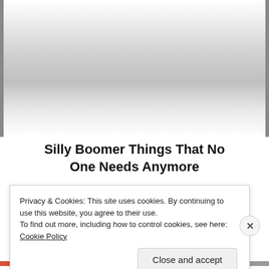[Figure (photo): Faded/washed out photograph area with gradient — appears to be a mostly white/grey image placeholder]
Silly Boomer Things That No One Needs Anymore
Privacy & Cookies: This site uses cookies. By continuing to use this website, you agree to their use.
To find out more, including how to control cookies, see here: Cookie Policy
Close and accept